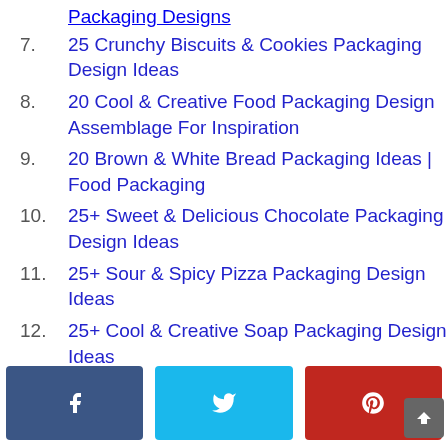Packaging Designs
7. 25 Crunchy Biscuits & Cookies Packaging Design Ideas
8. 20 Cool & Creative Food Packaging Design Assemblage For Inspiration
9. 20 Brown & White Bread Packaging Ideas | Food Packaging
10. 25+ Sweet & Delicious Chocolate Packaging Design Ideas
11. 25+ Sour & Spicy Pizza Packaging Design Ideas
12. 25+ Cool & Creative Soap Packaging Design Ideas